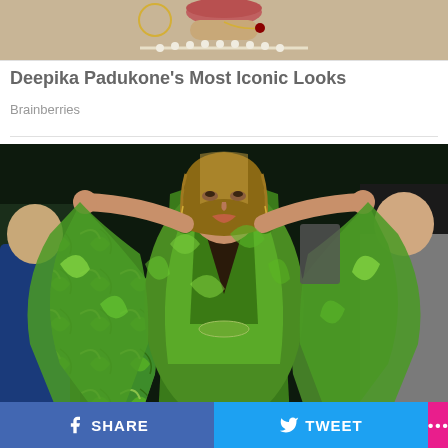[Figure (photo): Top portion of a person wearing jewelry including a pearl necklace and nose chain, cropped at the top of the page]
Deepika Padukone's Most Iconic Looks
Brainberries
[Figure (photo): Jennifer Lopez wearing a deep-v green tropical print Versace gown with flowing cape sleeves, arms outstretched, at a fashion event with crowd in background]
This Is How Jennifer Lopez Keeps Her Body In Peak Condition
SHARE   TWEET   ...